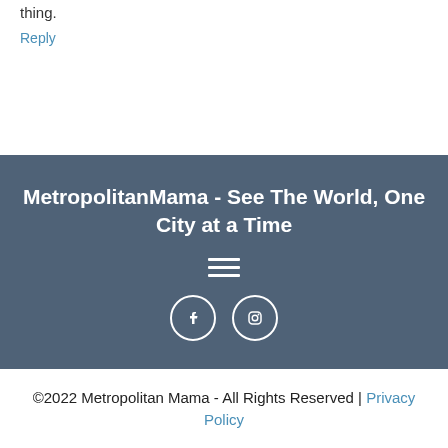thing.
Reply
MetropolitanMama - See The World, One City at a Time
©2022 Metropolitan Mama - All Rights Reserved | Privacy Policy